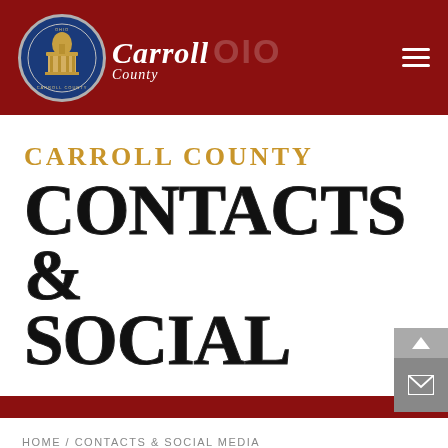Carroll County Ohio
CARROLL COUNTY CONTACTS & SOCIAL
HOME / CONTACTS & SOCIAL MEDIA
WHO DO I CONTACT?